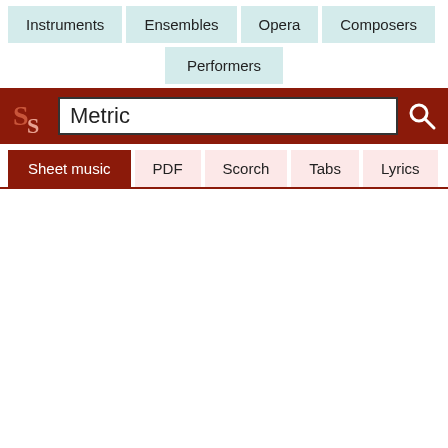[Figure (screenshot): Navigation bar with category buttons: Instruments, Ensembles, Opera, Composers]
[Figure (screenshot): Navigation row with Performers button]
[Figure (screenshot): Search bar with SS logo, text input containing 'Metric', and search icon, on dark red background]
[Figure (screenshot): Tab bar with Sheet music (active/dark red), PDF, Scorch, Tabs, Lyrics tabs]